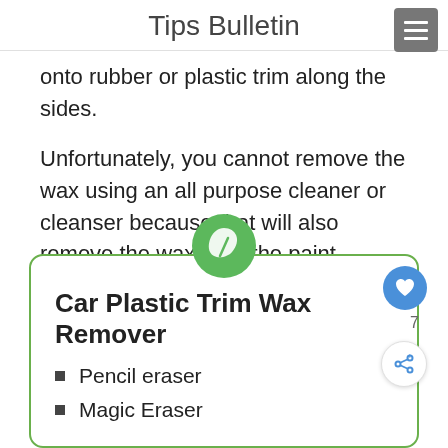Tips Bulletin
onto rubber or plastic trim along the sides.
Unfortunately, you cannot remove the wax using an all purpose cleaner or cleanser because that will also remove the wax from the paint. Believe it or not, you can remove wax from plastic car trim using a pencil eraser.
Car Plastic Trim Wax Remover
Pencil eraser
Magic Eraser